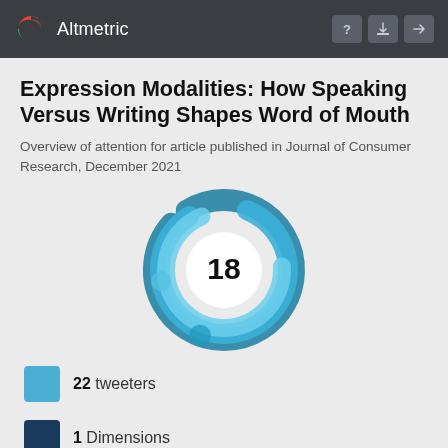Altmetric
Expression Modalities: How Speaking Versus Writing Shapes Word of Mouth
Overview of attention for article published in Journal of Consumer Research, December 2021
[Figure (donut-chart): Altmetric donut-style swirl logo showing score of 18 in center, rendered in shades of blue/teal]
22 tweeters
1 Dimensions